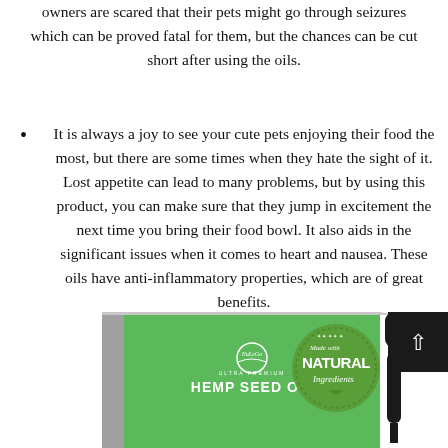owners are scared that their pets might go through seizures which can be proved fatal for them, but the chances can be cut short after using the oils.
It is always a joy to see your cute pets enjoying their food the most, but there are some times when they hate the sight of it. Lost appetite can lead to many problems, but by using this product, you can make sure that they jump in excitement the next time you bring their food bowl. It also aids in the significant issues when it comes to heart and nausea. These oils have anti-inflammatory properties, which are of great benefits.
[Figure (photo): Product photo showing a green hemp seed oil box with dropper bottle and a 'Made with Natural Ingredients' badge, plus a scroll-up button]